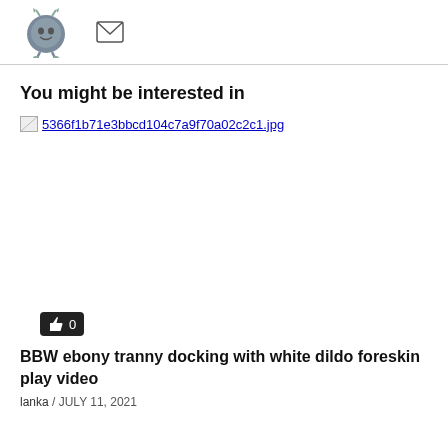[Figure (illustration): Cartoon avatar of a round grey character with antennae and green feet, positioned top-left. Next to it is an envelope icon.]
You might be interested in
[Figure (other): Broken image placeholder showing filename: 5366f1b71e3bbcd104c7a9f70a02c2c1.jpg]
[Figure (other): Like button showing thumbs up icon and count 0 on dark background]
BBW ebony tranny docking with white dildo foreskin play video
lanka  /  JULY 11, 2021